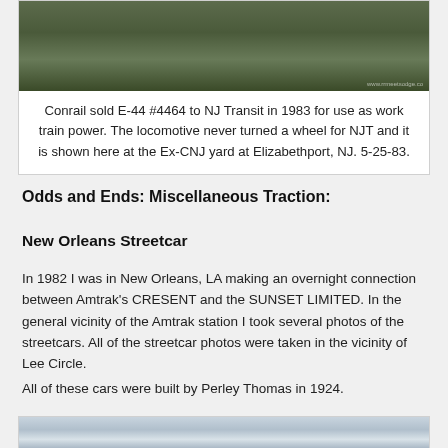[Figure (photo): Photo of railroad debris/equipment in a grassy yard area, with rusty barrels and track hardware visible]
Conrail sold E-44 #4464 to NJ Transit in 1983 for use as work train power. The locomotive never turned a wheel for NJT and it is shown here at the Ex-CNJ yard at Elizabethport, NJ. 5-25-83.
Odds and Ends: Miscellaneous Traction:
New Orleans Streetcar
In 1982 I was in New Orleans, LA making an overnight connection between Amtrak's CRESENT and the SUNSET LIMITED. In the general vicinity of the Amtrak station I took several photos of the streetcars. All of the streetcar photos were taken in the vicinity of Lee Circle.
All of these cars were built by Perley Thomas in 1924.
[Figure (photo): Partial view of a New Orleans streetcar, showing overhead wires and poles]